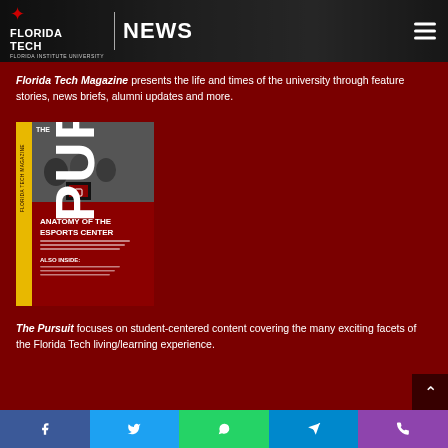Florida Tech News
Florida Tech Magazine presents the life and times of the university through feature stories, news briefs, alumni updates and more.
[Figure (photo): Cover of The Pursuit magazine showing 'Anatomy of the Esports Center' issue with students at gaming stations]
The Pursuit focuses on student-centered content covering the many exciting facets of the Florida Tech living/learning experience.
Social share buttons: Facebook, Twitter, WhatsApp, Telegram, Phone